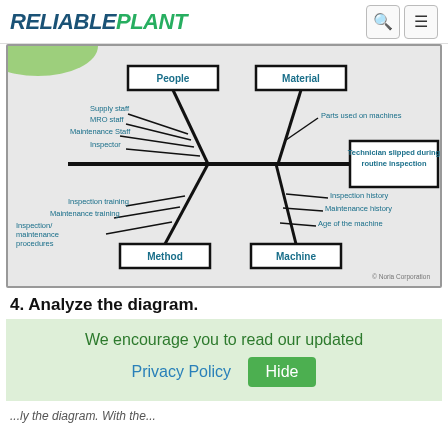RELIABLEPLANT
[Figure (flowchart): Fishbone (Ishikawa) cause-and-effect diagram showing causes of 'Technician slipped during routine inspection'. Four main categories: People (Supply staff, MRO staff, Maintenance Staff, Inspector), Material (Parts used on machines), Method (Inspection training, Maintenance training, Inspection/maintenance procedures), Machine (Inspection history, Maintenance history, Age of the machine). © Noria Corporation]
4. Analyze the diagram.
We encourage you to read our updated Privacy Policy  Hide